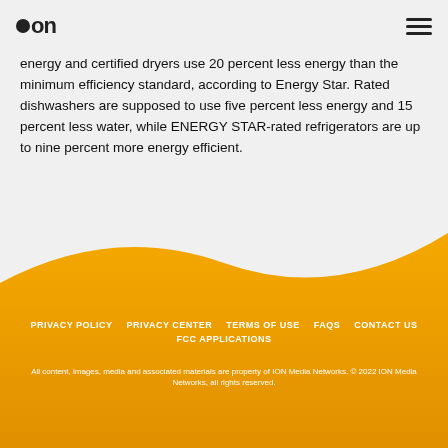ion [logo] [hamburger menu]
refrigerator, washing machine and dishwasher are all ENERGY STAR-rated. The washing machines use 35 percent less water and energy and certified dryers use 20 percent less energy than the minimum efficiency standard, according to Energy Star. Rated dishwashers are supposed to use five percent less energy and 15 percent less water, while ENERGY STAR-rated refrigerators are up to nine percent more energy efficient.
Copyright © CTW Features
[Figure (other): Social media buttons: Facebook, Twitter, Pinterest — dark rounded square icons with white icons]
PRIVACY POLICY   PRIVACY CENTER   TERMS OF USE   FAQS   CONTACT US   FCC APPLICATIONS
All content, images, media and associated materials are property of ION Media Networks. © 2022 ION Media Networks, all rights reserved.